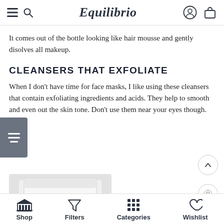Equilibrio
It comes out of the bottle looking like hair mousse and gently disolves all makeup.
CLEANSERS THAT EXFOLIATE
When I don't have time for face masks, I like using these cleansers that contain exfoliating ingredients and acids. They help to smooth and even out the skin tone. Don't use them near your eyes though.
[Figure (photo): White cylindrical product container on white/grey background]
Shop   Filters   Categories   Wishlist